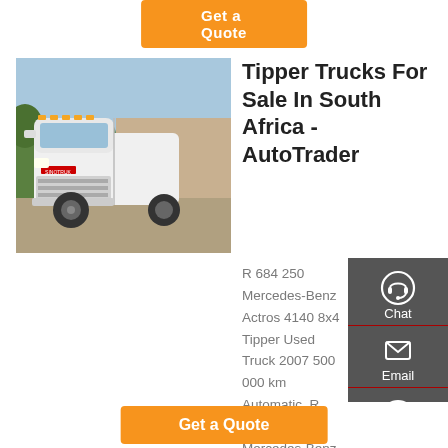[Figure (other): Orange button at top (Get a Quote / CTA button partially visible)]
[Figure (photo): White SINOTRUK HOWO tipper truck photographed from front-left angle in a lot, sky and trees in background]
Tipper Trucks For Sale In South Africa - AutoTrader
R 684 250 Mercedes-Benz Actros 4140 8x4 Tipper Used Truck 2007 500 000 km Automatic. R 569 250 Mercedes-Benz Axor 2628 10 Cube Tipper Used Truck 2009 721 000 km Manual. R 373 750 MAN M2000 LE14.228 6 Cube Tipper Used Truck 2005 500 000 km Manual.
[Figure (infographic): Dark grey sidebar with Chat (headset icon), Email (envelope icon), Contact (speech bubble icon), and Top (up arrow icon) buttons]
[Figure (other): Orange 'Get a Quote' button at the bottom]